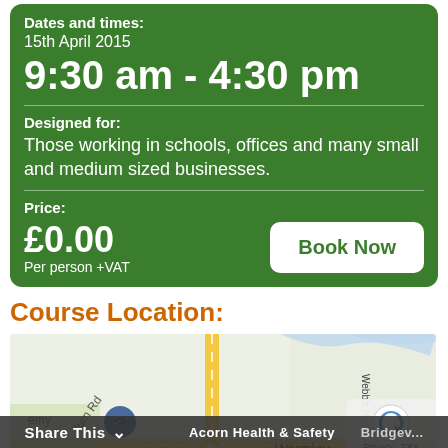Dates and times:
15th April 2015
9:30 am - 4:30 pm
Designed for:
Those working in schools, offices and many small and medium sized businesses.
Price:
£0.00
Per person +VAT
Book Now
Course Location:
[Figure (map): Google Maps showing location near Warmley, with roads A420, Webb's Heath visible and an Acorn Health & Safety marker pin]
Share This  ∨
Acorn Health & Safety
Bridgev...